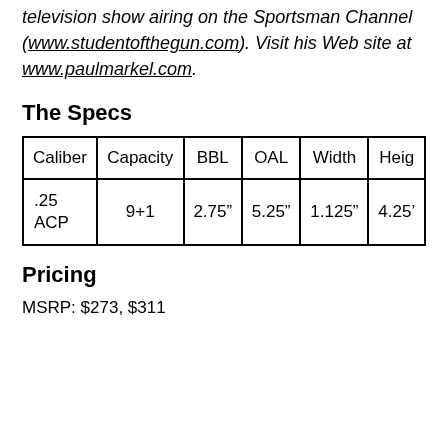television show airing on the Sportsman Channel (www.studentofthegun.com). Visit his Web site at www.paulmarkel.com.
The Specs
| Caliber | Capacity | BBL | OAL | Width | Heig… |
| --- | --- | --- | --- | --- | --- |
| .25 ACP | 9+1 | 2.75" | 5.25" | 1.125" | 4.25" |
Pricing
MSRP: $273, $311